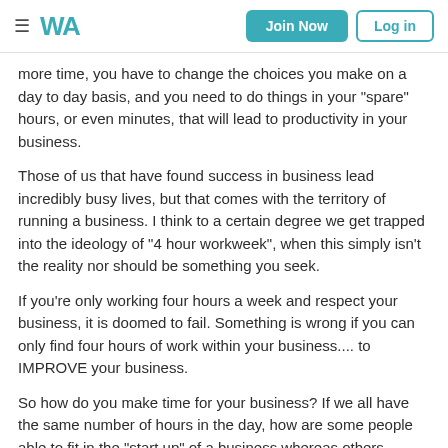WA | Join Now | Log in
more time, you have to change the choices you make on a day to day basis, and you need to do things in your "spare" hours, or even minutes, that will lead to productivity in your business.
Those of us that have found success in business lead incredibly busy lives, but that comes with the territory of running a business. I think to a certain degree we get trapped into the ideology of "4 hour workweek", when this simply isn't the reality nor should be something you seek.
If you're only working four hours a week and respect your business, it is doomed to fail. Something is wrong if you can only find four hours of work within your business.... to IMPROVE your business.
So how do you make time for your business? If we all have the same number of hours in the day, how are some people able to fit in the "start up" of a business whereas others simply can't (or won't).